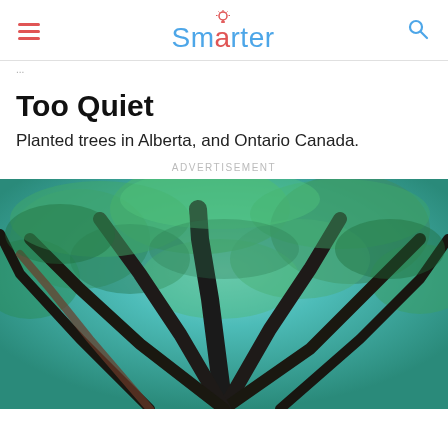Smarter
Too Quiet
Planted trees in Alberta, and Ontario Canada.
ADVERTISEMENT
[Figure (photo): Upward-looking photograph through tall forest trees with dark trunks fanning outward against a bright teal/blue-green canopy sky, lush foliage visible between branches.]